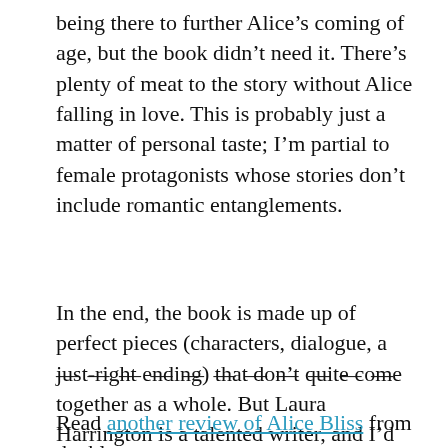being there to further Alice's coming of age, but the book didn't need it. There's plenty of meat to the story without Alice falling in love. This is probably just a matter of personal taste; I'm partial to female protagonists whose stories don't include romantic entanglements.
In the end, the book is made up of perfect pieces (characters, dialogue, a just-right ending) that don't quite come together as a whole. But Laura Harrington is a talented writer, and I'd love to read some of her other works.
— — — — — — — — — — —
Read another review of Alice Bliss from the blog